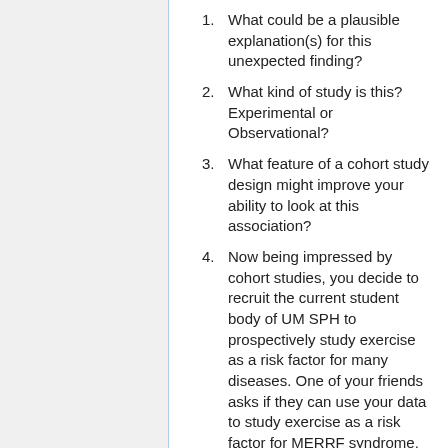What could be a plausible explanation(s) for this unexpected finding?
What kind of study is this? Experimental or Observational?
What feature of a cohort study design might improve your ability to look at this association?
Now being impressed by cohort studies, you decide to recruit the current student body of UM SPH to prospectively study exercise as a risk factor for many diseases. One of your friends asks if they can use your data to study exercise as a risk factor for MERRF syndrome, an extremely rare disease of the mitochondria with an estimated prevalence of 9 per 1,000,000. Why or why not